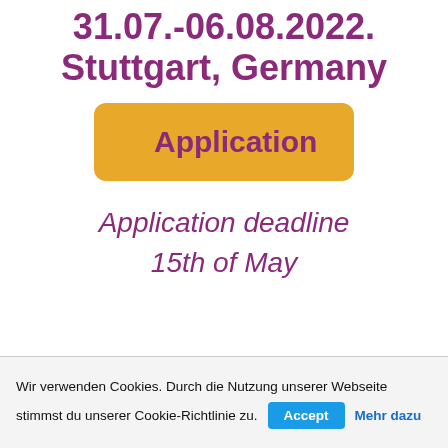31.07.-06.08.2022. Stuttgart, Germany
Application
Application deadline
15th of May
Wir verwenden Cookies. Durch die Nutzung unserer Webseite stimmst du unserer Cookie-Richtlinie zu.